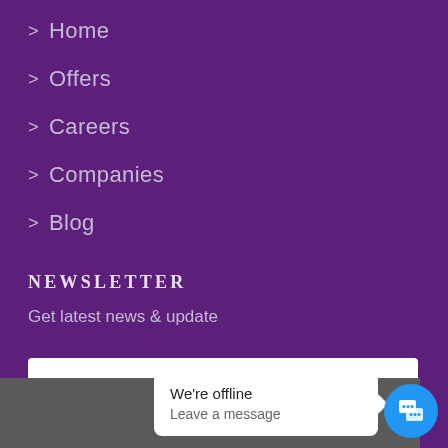> Home
> Offers
> Careers
> Companies
> Blog
NEWSLETTER
Get latest news & update
your email
We're offline
Leave a message